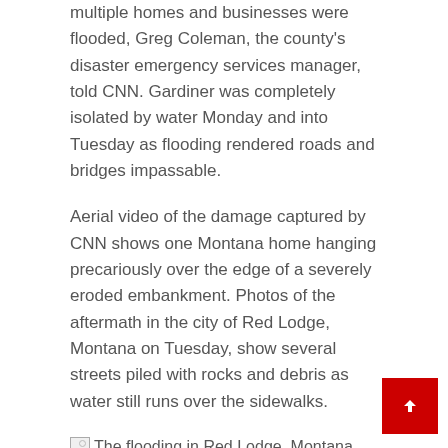multiple homes and businesses were flooded, Greg Coleman, the county's disaster emergency services manager, told CNN. Gardiner was completely isolated by water Monday and into Tuesday as flooding rendered roads and bridges impassable.
Aerial video of the damage captured by CNN shows one Montana home hanging precariously over the edge of a severely eroded embankment. Photos of the aftermath in the city of Red Lodge, Montana on Tuesday, show several streets piled with rocks and debris as water still runs over the sidewalks.
[Figure (photo): Broken image placeholder with caption: The flooding in Red Lodge, Montana left the roads covered in rocks and debris.]
The flooding in Red Lodge, Montana left the roads covered in rocks and debris.
Region braces for potential of more flooding